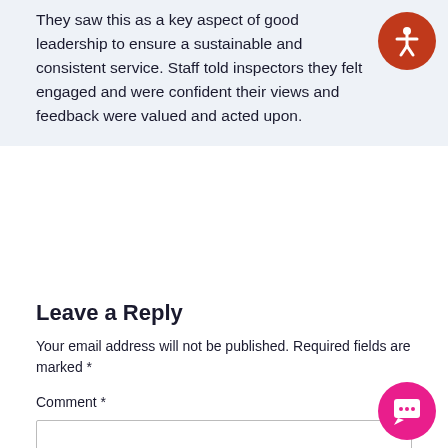They saw this as a key aspect of good leadership to ensure a sustainable and consistent service. Staff told inspectors they felt engaged and were confident their views and feedback were valued and acted upon.
Leave a Reply
Your email address will not be published. Required fields are marked *
Comment *